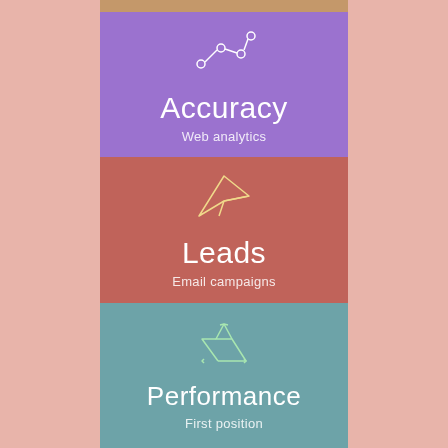[Figure (infographic): Three stacked colored panels with icons and text. Panel 1 (purple): line chart icon, 'Accuracy', 'Web analytics'. Panel 2 (red): paper plane icon, 'Leads', 'Email campaigns'. Panel 3 (teal): recycling icon, 'Performance', 'First position'.]